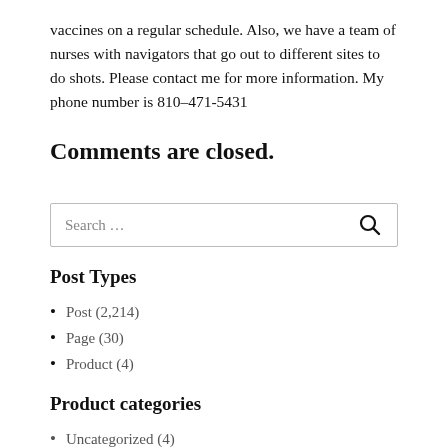vaccines on a regular schedule. Also, we have a team of nurses with navigators that go out to different sites to do shots. Please contact me for more information. My phone number is 810–471-5431
Comments are closed.
Search …
Post Types
Post (2,214)
Page (30)
Product (4)
Product categories
Uncategorized (4)